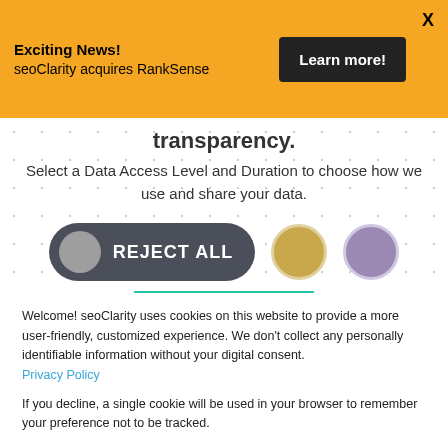Exciting News! seoClarity acquires RankSense
Learn more!
transparency.
Select a Data Access Level and Duration to choose how we use and share your data.
[Figure (infographic): Cookie consent UI with REJECT ALL pill button, a gold circle and purple circle representing data access levels]
Welcome! seoClarity uses cookies on this website to provide a more user-friendly, customized experience. We don't collect any personally identifiable information without your digital consent. Privacy Policy
If you decline, a single cookie will be used in your browser to remember your preference not to be tracked.
Accept
Decline